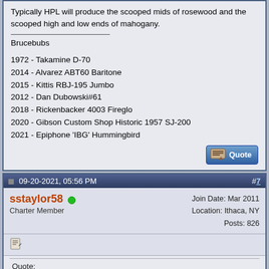Typically HPL will produce the scooped mids of rosewood and the scooped high and low ends of mahogany.
Brucebubs
1972 - Takamine D-70
2014 - Alvarez ABT60 Baritone
2015 - Kittis RBJ-195 Jumbo
2012 - Dan Dubowski#61
2018 - Rickenbacker 4003 Fireglo
2020 - Gibson Custom Shop Historic 1957 SJ-200
2021 - Epiphone 'IBG' Hummingbird
09-20-2021, 05:56 PM  #7
sstaylor58  Charter Member  Join Date: Mar 2011  Location: Ithaca, NY  Posts: 826
Quote:
Originally Posted by Brucebubs
The sawdust from D-28's and D-18's is mixed together with adhesive under high pressure to produce 'mahogwood' or 'rosegany' ... or HPL for short.
Typically HPL will produce the scooped mids of rosewood...